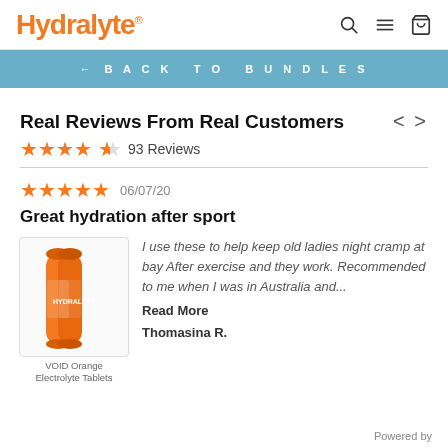Hydralyte
← BACK TO BUNDLES
Real Reviews From Real Customers
★★★★½ 93 Reviews
★★★★★ 06/07/20
Great hydration after sport
[Figure (photo): Orange Hydralyte electrolyte tablet tubes]
VOID Orange Electrolyte Tablets
I use these to help keep old ladies night cramp at bay After exercise and they work. Recommended to me when I was in Australia and...
Read More
Thomasina R.
Powered by